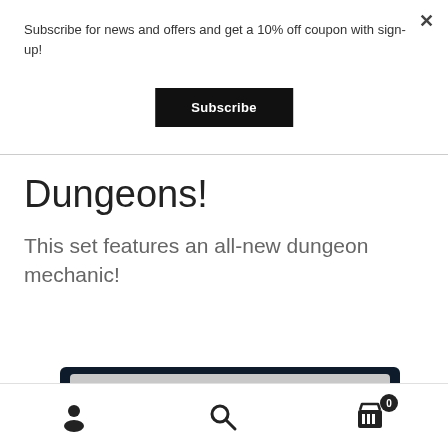Subscribe for news and offers and get a 10% off coupon with sign-up!
Subscribe
Dungeons!
This set features an all-new dungeon mechanic!
[Figure (photo): Partial view of a product image with dark navy border, showing the top portion of a card or book cover.]
Account | Search | Cart (0)